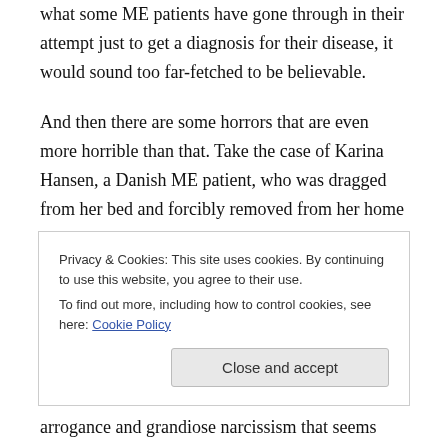what some ME patients have gone through in their attempt just to get a diagnosis for their disease, it would sound too far-fetched to be believable.
And then there are some horrors that are even more horrible than that. Take the case of Karina Hansen, a Danish ME patient, who was dragged from her bed and forcibly removed from her home in February 2013 and has been imprisoned in a psych ward ever since. Her story
Privacy & Cookies: This site uses cookies. By continuing to use this website, you agree to their use.
To find out more, including how to control cookies, see here: Cookie Policy
arrogance and grandiose narcissism that seems